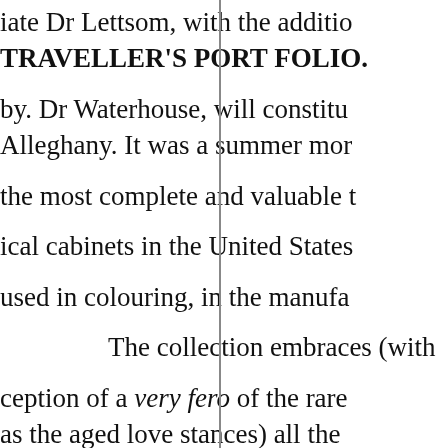iate Dr Lettsom, with the additio
TRAVELLER'S PORT FOLIO.
by. Dr Waterhouse, will constitu Alleghany. It was a summer mor the most complete and valuable ical cabinets in the United States used in colouring, in the manufa
The collection embraces (with ception of a very fero of the rares as the aged love stances) all the their wearied limbs upon when l
of those specimens, the localities such as young lovers seek. And t
are exhausted, and many of whic morning;- far away rarely met w either hand, and where the Ohio waters,
culiarly rich, as is likewise the v gems and precious A companion stones are numerous. And brigh